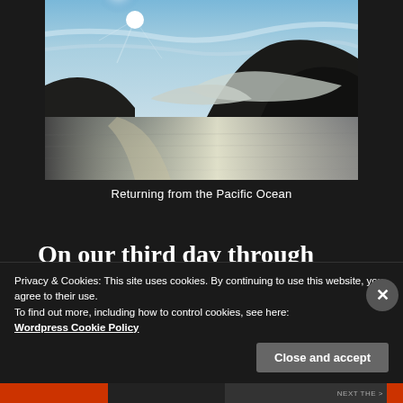[Figure (photo): Landscape photo of a mountain fjord scene with dark mountain silhouettes shrouded in clouds, a calm reflective ocean in the foreground, and a bright sun in a blue sky above.]
Returning from the Pacific Ocean
On our third day through the fjords, the changeable weather did indeed become
Privacy & Cookies: This site uses cookies. By continuing to use this website, you agree to their use.
To find out more, including how to control cookies, see here: Wordpress Cookie Policy
Close and accept